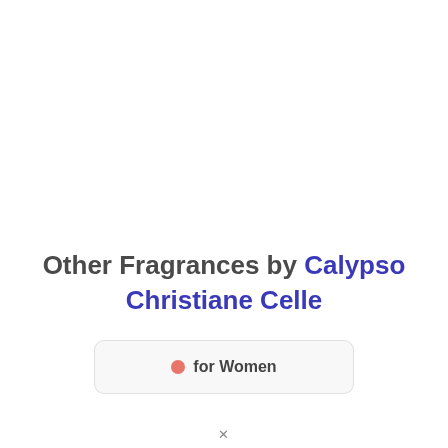Other Fragrances by Calypso Christiane Celle
● for Women